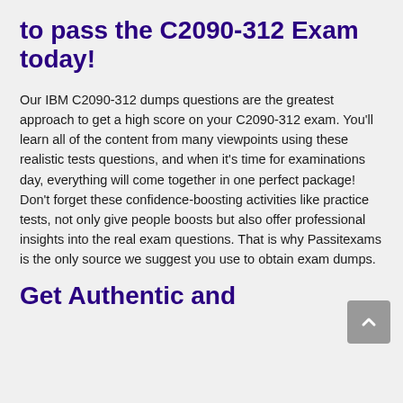to pass the C2090-312 Exam today!
Our IBM C2090-312 dumps questions are the greatest approach to get a high score on your C2090-312 exam. You'll learn all of the content from many viewpoints using these realistic tests questions, and when it's time for examinations day, everything will come together in one perfect package! Don't forget these confidence-boosting activities like practice tests, not only give people boosts but also offer professional insights into the real exam questions. That is why Passitexams is the only source we suggest you use to obtain exam dumps.
Get Authentic and